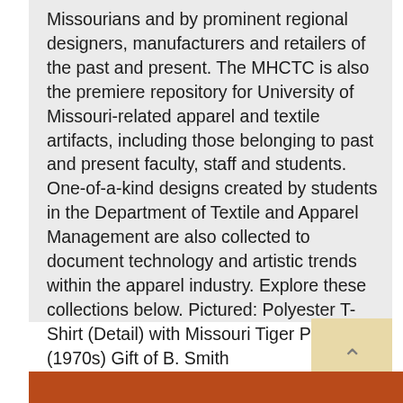Missourians and by prominent regional designers, manufacturers and retailers of the past and present. The MHCTC is also the premiere repository for University of Missouri-related apparel and textile artifacts, including those belonging to past and present faculty, staff and students. One-of-a-kind designs created by students in the Department of Textile and Apparel Management are also collected to document technology and artistic trends within the apparel industry. Explore these collections below. Pictured: Polyester T-Shirt (Detail) with Missouri Tiger Print (1970s) Gift of B. Smith